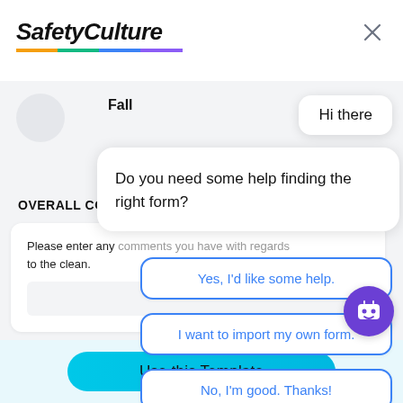[Figure (screenshot): SafetyCulture app header with logo and close button]
Fall
OVERALL COMM
Please enter any comments you have with regards to the clean.
[Figure (screenshot): Chat overlay with 'Hi there' bubble, 'Do you need some help finding the right form?' message, and three choice buttons: 'Yes, I'd like some help.', 'I want to import my own form.', 'No, I'm good. Thanks!']
Use this Template